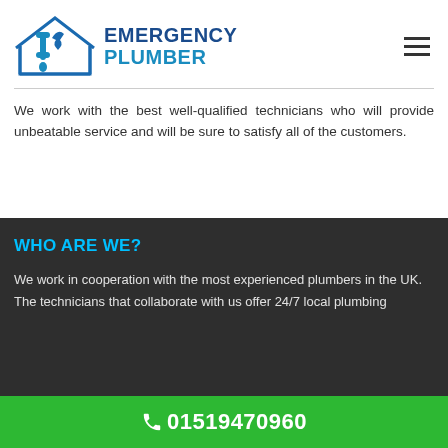[Figure (logo): Emergency Plumber logo with house and plumbing pipe icon in blue]
We work with the best well-qualified technicians who will provide unbeatable service and will be sure to satisfy all of the customers.
WHO ARE WE?
We work in cooperation with the most experienced plumbers in the UK.
The technicians that collaborate with us offer 24/7 local plumbing
01519470960